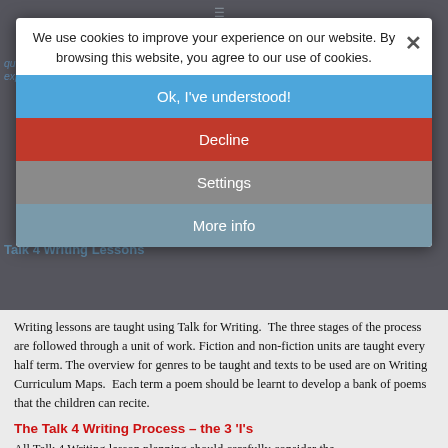[Figure (screenshot): Cookie consent modal overlay on a school/education website. The modal shows cookie notice text, and four buttons: 'Ok, I've understood!' (blue), 'Decline' (red), 'Settings' (grey), 'More info' (teal/grey). Background shows partial website content including 'Talk 4 Writing Lessons' text.]
Writing lessons are taught using Talk for Writing.  The three stages of the process are followed through a unit of work. Fiction and non-fiction units are taught every half term. The overview for genres to be taught and texts to be used are on Writing Curriculum Maps.  Each term a poem should be learnt to develop a bank of poems that the children can recite.
The Talk 4 Writing Process – the 3 'I's
All Talk 4 Writing lesson planning should carefully consider the